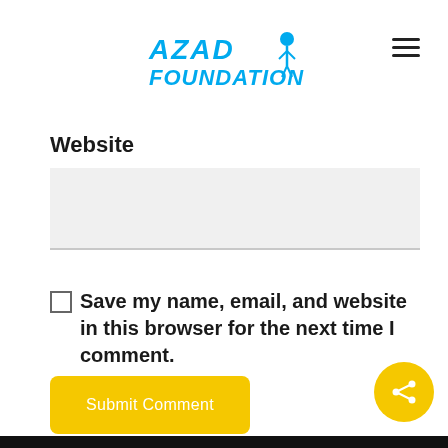[Figure (logo): Azad Foundation logo in blue stylized text with a figure character]
Website
Save my name, email, and website in this browser for the next time I comment.
Submit Comment